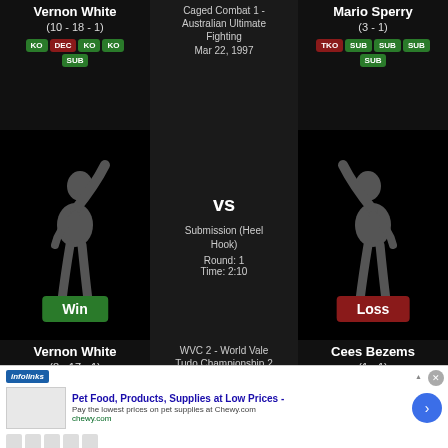Vernon White (10 - 18 - 1) KO DEC KO KO SUB
Caged Combat 1 - Australian Ultimate Fighting Mar 22, 1997
Mario Sperry (3 - 1) TKO SUB SUB SUB SUB
[Figure (photo): Fighter silhouette with Win label - Vernon White]
VS Submission (Heel Hook) Round: 1 Time: 2:10
[Figure (photo): Fighter silhouette with Loss label - Cees Bezems]
Vernon White (8 - 17 - 1) DEC KO DEC KO KO
WVC 2 - World Vale Tudo Championship 2 Nov 10, 1996
Cees Bezems (1 - 1) SUB TKO
[Figure (screenshot): Infolinks ad - Pet Food Products Supplies at Low Prices - Chewy.com]